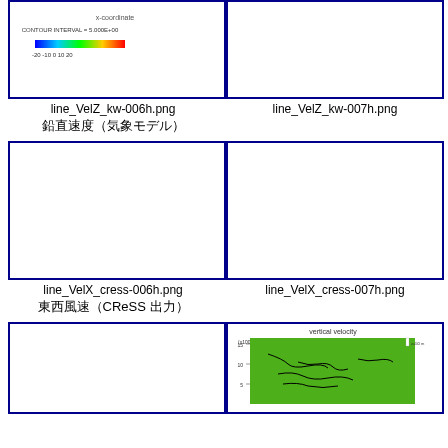[Figure (other): Contour plot thumbnail showing x-coordinate with colorbar, CONTOUR INTERVAL = 5.000E+00, color range from blue to red (-20 to 20)]
[Figure (other): Empty white plot box with blue border]
line_VelZ_kw-006h.png
line_VelZ_kw-007h.png
鉛直速度 (気象モデル)
[Figure (other): Empty white plot box with blue border]
[Figure (other): Empty white plot box with blue border]
line_VelX_cress-006h.png
line_VelX_cress-007h.png
東西風速 (CReSS 出力)
[Figure (other): Empty white plot box with blue border]
[Figure (continuous-plot): vertical velocity contour plot on green background with black contour lines, labeled axes x1000 m]